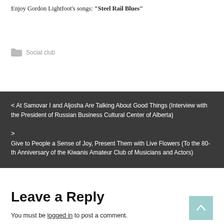Enjoy Gordon Lightfoot's songs: “Steel Rail Blues”
Social club
‹ At Samovar I and Aljosha Are Talking About Good Things (Interview with the President of Russian Business Cultural Center of Alberta)
› Give to People a Sense of Joy, Present Them with Live Flowers (To the 80-th Anniversary of the Kiwanis Amateur Club of Musicians and Actors)
Leave a Reply
You must be logged in to post a comment.